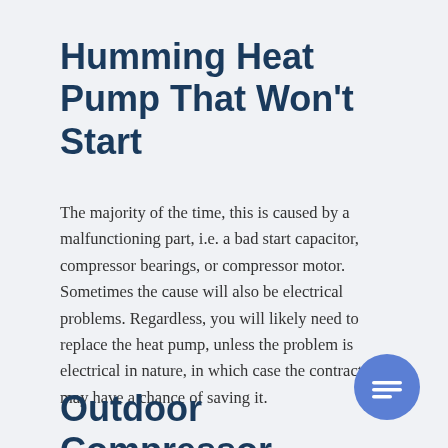Humming Heat Pump That Won't Start
The majority of the time, this is caused by a malfunctioning part, i.e. a bad start capacitor, compressor bearings, or compressor motor. Sometimes the cause will also be electrical problems. Regardless, you will likely need to replace the heat pump, unless the problem is electrical in nature, in which case the contractor may have a chance of saving it.
Outdoor Compressor Won't Work